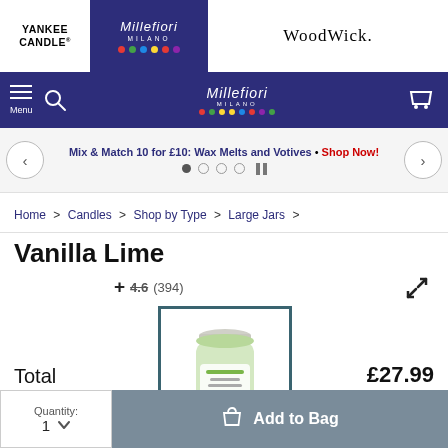Yankee Candle | Millefiori Milano | WoodWick.
Menu (navigation bar with Millefiori Milano center logo and cart icon)
Mix & Match 10 for £10: Wax Melts and Votives · Shop Now!
Home > Candles > Shop by Type > Large Jars >
Vanilla Lime
+ 4.6 (394)
[Figure (photo): Yankee Candle Vanilla Lime large jar candle with green label, shown in a teal-bordered product image thumbnail]
Total £27.99
Quantity: 1  Add to Bag